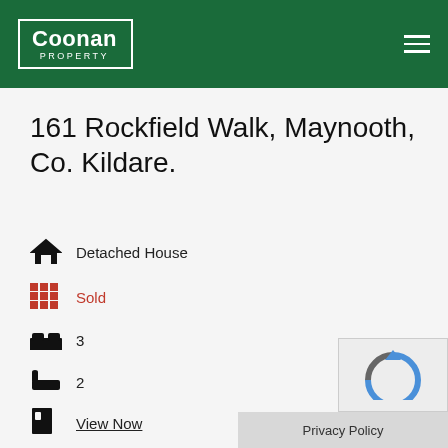[Figure (logo): Coonan Property logo in white text inside white border rectangle on dark green background, with hamburger menu icon top right]
161 Rockfield Walk, Maynooth, Co. Kildare.
Detached House
Sold
3
2
View Now
Privacy Policy